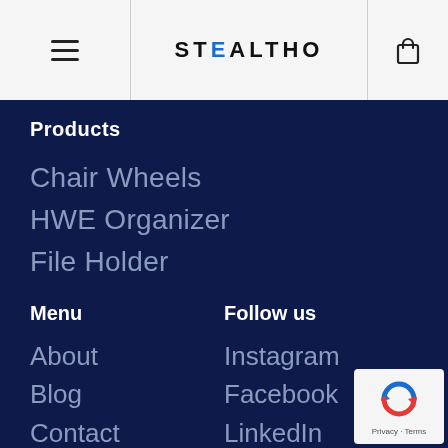STEALTHO
Products
Chair Wheels
HWE Organizer
File Holder
Menu
About
Blog
Contact
Follow us
Instagram
Facebook
LinkedIn
[Figure (logo): reCAPTCHA badge with Privacy and Terms links]